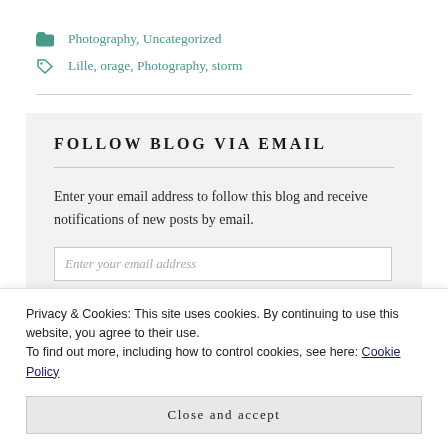Photography, Uncategorized
Lille, orage, Photography, storm
FOLLOW BLOG VIA EMAIL
Enter your email address to follow this blog and receive notifications of new posts by email.
Privacy & Cookies: This site uses cookies. By continuing to use this website, you agree to their use.
To find out more, including how to control cookies, see here: Cookie Policy
Close and accept